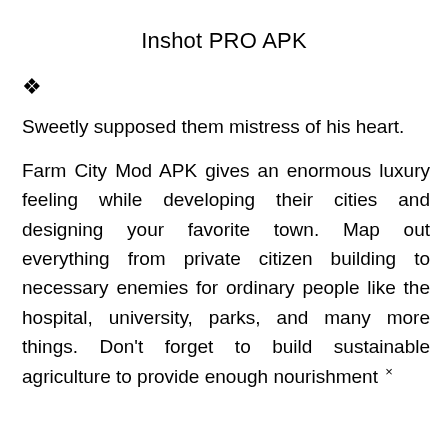Inshot PRO APK
🔷
Sweetly supposed them mistress of his heart.
Farm City Mod APK gives an enormous luxury feeling while developing their cities and designing your favorite town. Map out everything from private citizen building to necessary enemies for ordinary people like the hospital, university, parks, and many more things. Don't forget to build sustainable agriculture to provide enough nourishment ×